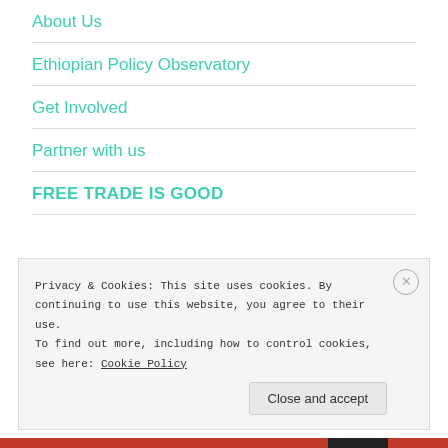About Us
Ethiopian Policy Observatory
Get Involved
Partner with us
FREE TRADE IS GOOD
Privacy & Cookies: This site uses cookies. By continuing to use this website, you agree to their use.
To find out more, including how to control cookies, see here: Cookie Policy
Close and accept